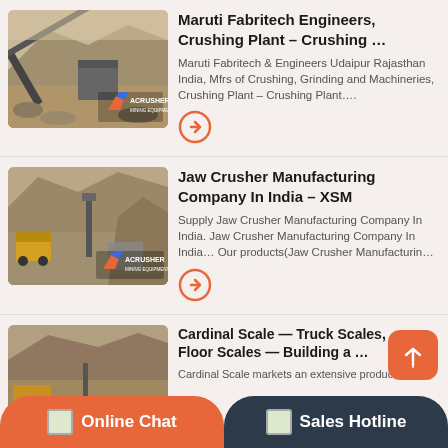[Figure (photo): Crushing plant / mining equipment photo with ACRUSHER logo overlay]
Maruti Fabritech Engineers, Crushing Plant – Crushing …
Maruti Fabritech & Engineers Udaipur Rajasthan India, Mfrs of Crushing, Grinding and Machineries, Crushing Plant – Crushing Plant….
[Figure (photo): Mining quarry with jaw crusher and ACRUSHER mining equipment logo]
Jaw Crusher Manufacturing Company In India – XSM
Supply Jaw Crusher Manufacturing Company In India. Jaw Crusher Manufacturing Company In India… Our products(Jaw Crusher Manufacturin…
[Figure (photo): Mining / quarry earthmoving photo]
Cardinal Scale — Truck Scales, Floor Scales — Building a …
Cardinal Scale markets an extensive product line…
Online Chat
Sales Hotline